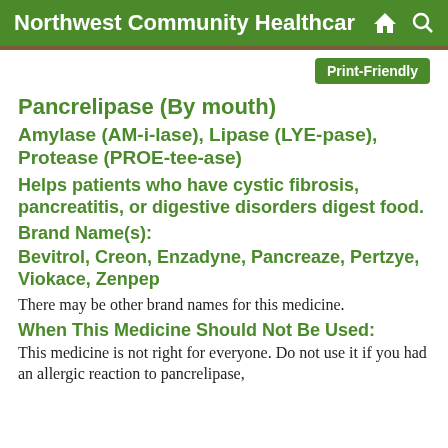Northwest Community Healthcar 🏠 🔍
Print-Friendly
Pancrelipase (By mouth)
Amylase (AM-i-lase), Lipase (LYE-pase), Protease (PROE-tee-ase)
Helps patients who have cystic fibrosis, pancreatitis, or digestive disorders digest food.
Brand Name(s):
Bevitrol, Creon, Enzadyne, Pancreaze, Pertzye, Viokace, Zenpep
There may be other brand names for this medicine.
When This Medicine Should Not Be Used:
This medicine is not right for everyone. Do not use it if you had an allergic reaction to pancrelipase,